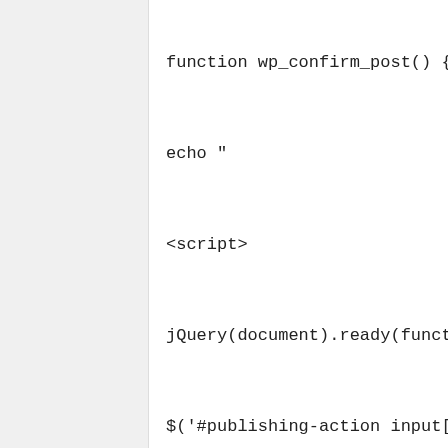function wp_confirm_post() {

echo "

<script>

jQuery(document).ready(function($){

$('#publishing-action input[name="

if(confirm('Are you sure you want t

return true;